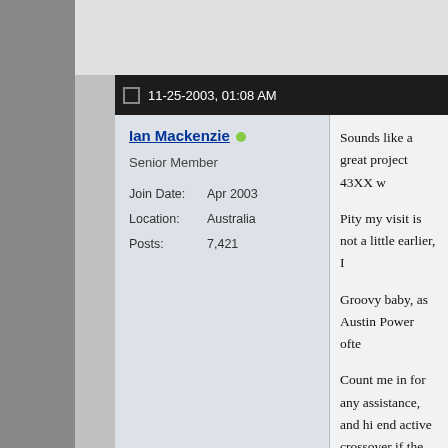11-25-2003, 01:08 AM
Ian Mackenzie
Senior Member
Join Date: Apr 2003
Location: Australia
Posts: 7,421
Sounds like a great project 43XX w

Pity my visit is not a little earlier, I

Groovy baby, as Austin Power ofte

Count me in for any assistance, and hi end active crossover if the proje… the best.
[Figure (illustration): Pixel art emoji of a figure with orange hair and sunglasses playing guitar, with text 'Ian' below]
Last edited by Ian Mackenzie; 11-25-
11-25-2003, 01:48 AM
Mr. Widget